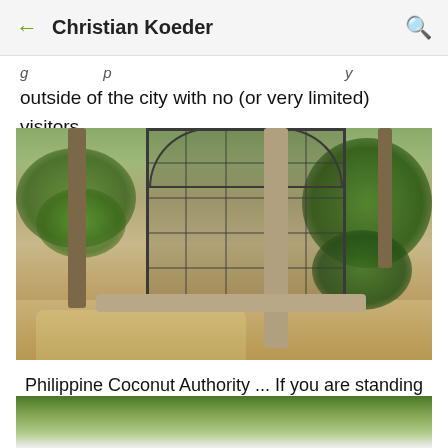Christian Koeder
g ... p ... y
outside of the city with no (or very limited) visitors.
[Figure (photo): A large metal cage or aviary structure surrounded by trees at what appears to be the Philippine Coconut Authority grounds near Quezon Memorial Circle. The structure has an arched top with a grid pattern, and is surrounded by trees with a dirt/gravel ground.]
Philippine Coconut Authority ... If you are standing in front of this, turn left to get to the entrance (underpass) into Quezon Memorial Circle.
[Figure (photo): Partial view of another photo at the bottom of the page, showing trees and possibly a structure.]